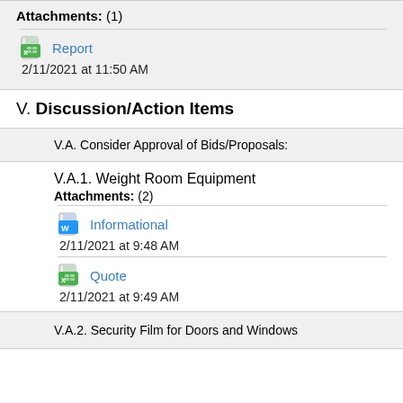Attachments: (1)
Report — 2/11/2021 at 11:50 AM
V. Discussion/Action Items
V.A. Consider Approval of Bids/Proposals:
V.A.1. Weight Room Equipment
Attachments: (2)
Informational — 2/11/2021 at 9:48 AM
Quote — 2/11/2021 at 9:49 AM
V.A.2. Security Film for Doors and Windows